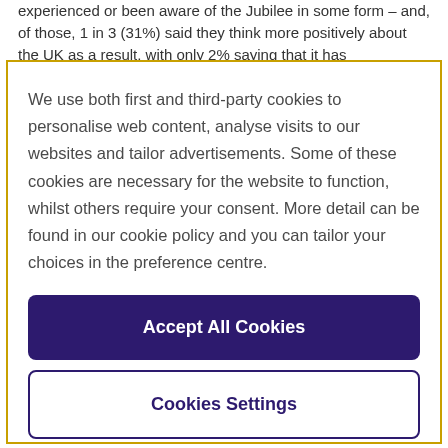experienced or been aware of the Jubilee in some form – and, of those, 1 in 3 (31%) said they think more positively about the UK as a result, with only 2% saying that it has
We use both first and third-party cookies to personalise web content, analyse visits to our websites and tailor advertisements. Some of these cookies are necessary for the website to function, whilst others require your consent. More detail can be found in our cookie policy and you can tailor your choices in the preference centre.
Accept All Cookies
Cookies Settings